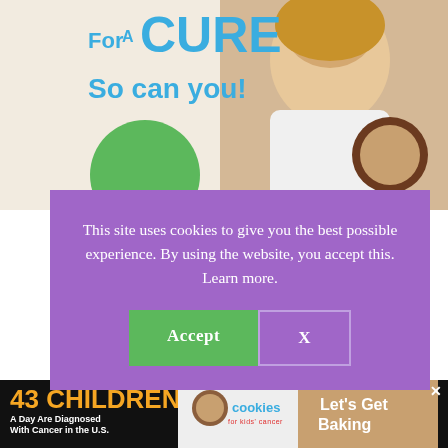[Figure (photo): Top banner advertisement for 'Knit for a Cure' with text 'For A CURE So can you!' in teal/blue, a green circle, and a smiling blonde girl holding a baked good]
This site uses cookies to give you the best possible experience. By using the website, you accept this. Learn more.
[Figure (photo): Bottom advertisement banner: '43 CHILDREN A Day Are Diagnosed With Cancer in the U.S.' with cookies for kids cancer logo and 'Let's Get Baking' text]